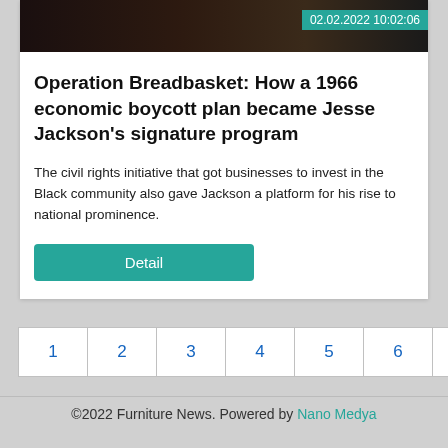[Figure (photo): Group photo of people, partially visible at top of card]
Operation Breadbasket: How a 1966 economic boycott plan became Jesse Jackson's signature program
The civil rights initiative that got businesses to invest in the Black community also gave Jackson a platform for his rise to national prominence.
Detail
1
2
3
4
5
6
7
8
9
10
11
12
©2022 Furniture News. Powered by Nano Medya